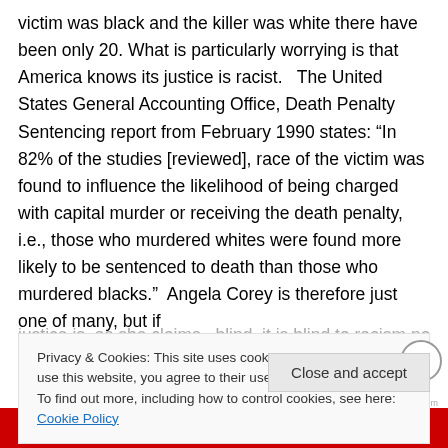victim was black and the killer was white there have been only 20. What is particularly worrying is that America knows its justice is racist.   The United States General Accounting Office, Death Penalty Sentencing report from February 1990 states: “In 82% of the studies [reviewed], race of the victim was found to influence the likelihood of being charged with capital murder or receiving the death penalty, i.e., those who murdered whites were found more likely to be sentenced to death than those who murdered blacks.”  Angela Corey is therefore just one of many, but if
justice is, as she claims,  blind, it is blind to racism not
Privacy & Cookies: This site uses cookies. By continuing to use this website, you agree to their use.
To find out more, including how to control cookies, see here: Cookie Policy
Close and accept